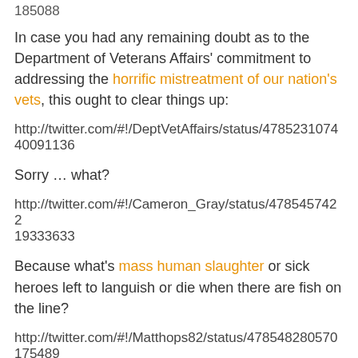185088
In case you had any remaining doubt as to the Department of Veterans Affairs' commitment to addressing the horrific mistreatment of our nation's vets, this ought to clear things up:
http://twitter.com/#!/DeptVetAffairs/status/478523107440091136
Sorry … what?
http://twitter.com/#!/Cameron_Gray/status/478545742219333633
Because what's mass human slaughter or sick heroes left to languish or die when there are fish on the line?
http://twitter.com/#!/Matthops82/status/478548280570175489